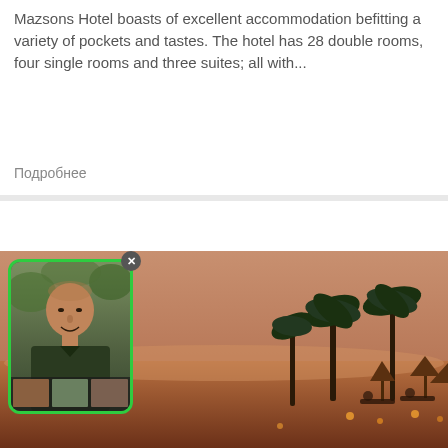Mazsons Hotel boasts of excellent accommodation befitting a variety of pockets and tastes. The hotel has 28 double rooms, four single rooms and three suites; all with...
Подробнее
[Figure (photo): Beach sunset scene with palm trees, thatched umbrellas, and lounge chairs, with a profile photo overlay of a bald man in a dark shirt, framed in a green-bordered rounded rectangle with a close (x) button]